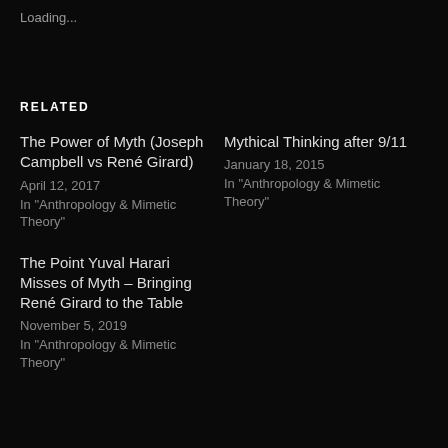Loading...
RELATED
The Power of Myth (Joseph Campbell vs René Girard)
April 12, 2017
In "Anthropology & Mimetic Theory"
Mythical Thinking after 9/11
January 18, 2015
In "Anthropology & Mimetic Theory"
The Point Yuval Harari Misses of Myth – Bringing René Girard to the Table
November 5, 2019
In "Anthropology & Mimetic Theory"